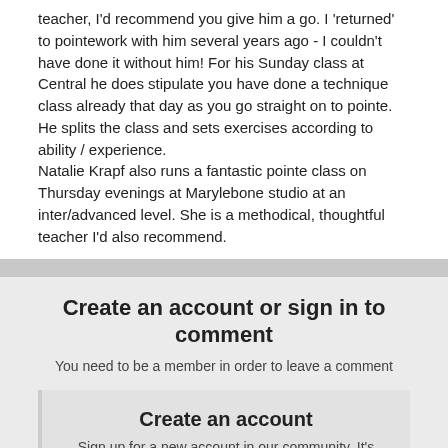teacher, I'd recommend you give him a go. I 'returned' to pointework with him several years ago - I couldn't have done it without him! For his Sunday class at Central he does stipulate you have done a technique class already that day as you go straight on to pointe. He splits the class and sets exercises according to ability / experience.
Natalie Krapf also runs a fantastic pointe class on Thursday evenings at Marylebone studio at an inter/advanced level. She is a methodical, thoughtful teacher I'd also recommend.
Create an account or sign in to comment
You need to be a member in order to leave a comment
Create an account
Sign up for a new account in our community. It's easy!
Register a new account